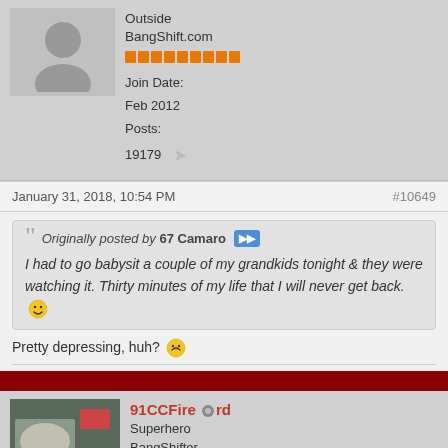[Figure (photo): Generic user avatar placeholder (grey silhouette of a person)]
Outside BangShift.com
Join Date: Feb 2012
Posts: 19179
January 31, 2018, 10:54 PM
#10649
Originally posted by 67 Camaro
I had to go babysit a couple of my grandkids tonight & they were watching it. Thirty minutes of my life that I will never get back. :)
Pretty depressing, huh? :)
91CCFirebird
Superhero BangShifter
Join Date: